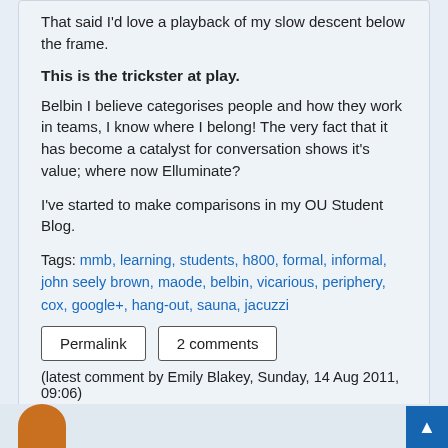That said I'd love a playback of my slow descent below the frame.
This is the trickster at play.
Belbin I believe categorises people and how they work in teams, I know where I belong! The very fact that it has become a catalyst for conversation shows it's value; where now Elluminate?
I've started to make comparisons in my OU Student Blog.
Tags: mmb, learning, students, h800, formal, informal, john seely brown, maode, belbin, vicarious, periphery, cox, google+, hang-out, sauna, jacuzzi
Permalink  2 comments
(latest comment by Emily Blakey, Sunday, 14 Aug 2011, 09:06)
Share post